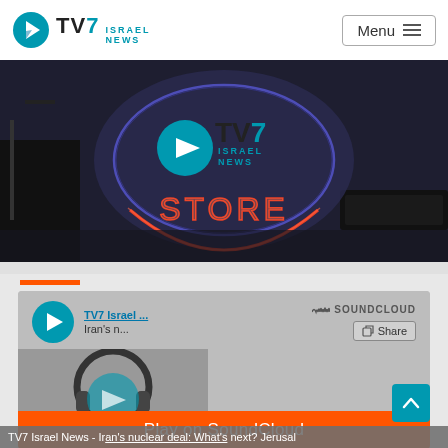TV7 Israel News
[Figure (screenshot): TV7 Israel News Store promotional banner with neon sign logo on dark background]
[Figure (screenshot): SoundCloud embedded player widget showing TV7 Israel News audio - Iran's nuclear deal: What's next?]
Play on SoundCloud
TV7 Israel News - Iran's nuclear deal: What's next? Jerusal